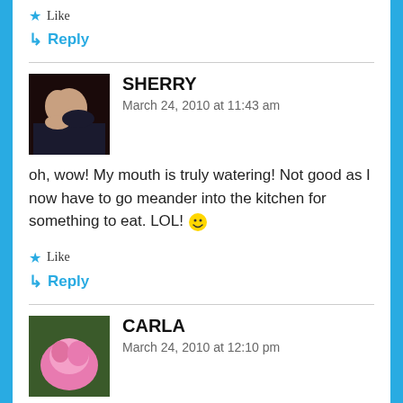★ Like
↳ Reply
SHERRY
March 24, 2010 at 11:43 am
oh, wow! My mouth is truly watering! Not good as I now have to go meander into the kitchen for something to eat. LOL! 😀
★ Like
↳ Reply
CARLA
March 24, 2010 at 12:10 pm